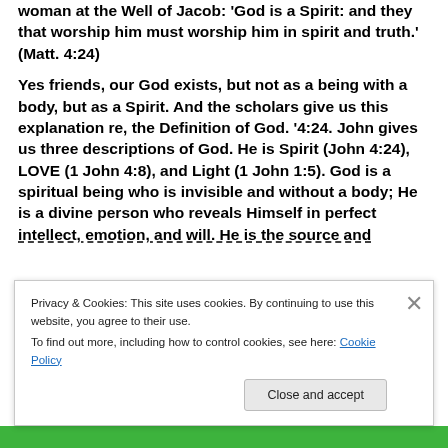woman at the Well of Jacob: 'God is a Spirit: and they that worship him must worship him in spirit and truth.' (Matt. 4:24)
Yes friends, our God exists, but not as a being with a body, but as a Spirit. And the scholars give us this explanation re, the Definition of God. '4:24. John gives us three descriptions of God. He is Spirit (John 4:24), LOVE (1 John 4:8), and Light (1 John 1:5). God is a spiritual being who is invisible and without a body; He is a divine person who reveals Himself in perfect intellect, emotion, and will. He is the source and...
Privacy & Cookies: This site uses cookies. By continuing to use this website, you agree to their use.
To find out more, including how to control cookies, see here: Cookie Policy